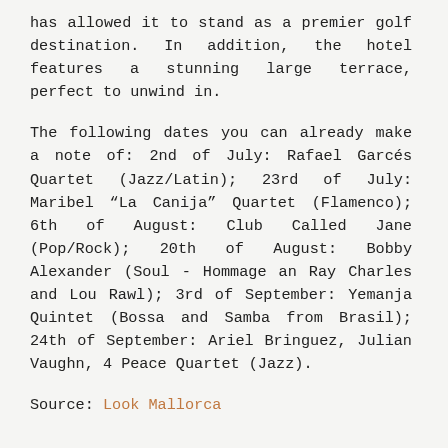has allowed it to stand as a premier golf destination. In addition, the hotel features a stunning large terrace, perfect to unwind in.
The following dates you can already make a note of: 2nd of July: Rafael Garcés Quartet (Jazz/Latin); 23rd of July: Maribel "La Canija" Quartet (Flamenco); 6th of August: Club Called Jane (Pop/Rock); 20th of August: Bobby Alexander (Soul - Hommage an Ray Charles and Lou Rawl); 3rd of September: Yemanja Quintet (Bossa and Samba from Brasil); 24th of September: Ariel Bringuez, Julian Vaughn, 4 Peace Quartet (Jazz).
Source: Look Mallorca